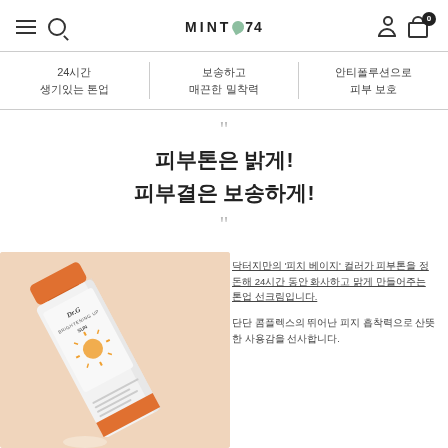MINT 74 navigation header with hamburger menu, search, user account, and cart (0 items)
24시간 생기있는 톤업 | 보송하고 매끈한 밀착력 | 안티폴루션으로 피부 보호
피부톤은 밝게!
피부결은 보송하게!
[Figure (photo): Dr.G Brightening Up Sun sunscreen tube product photo on peach/beige background]
닥터지만의 '피치 베이지' 컬러가 피부톤을 정돈해 24시간 동안 화사하고 맑게 만들어주는 톤업 선크림입니다.
단단 콤플렉스의 뛰어난 피지 흡착력으로 산뜻한 사용감을 선사합니다.